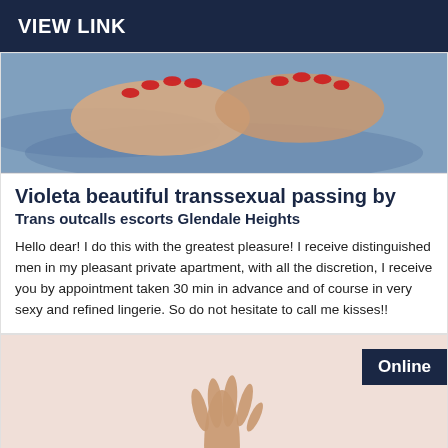VIEW LINK
[Figure (photo): Close-up photo of hands with red nail polish on a blue background]
Violeta beautiful transsexual passing by
Trans outcalls escorts Glendale Heights
Hello dear! I do this with the greatest pleasure! I receive distinguished men in my pleasant private apartment, with all the discretion, I receive you by appointment taken 30 min in advance and of course in very sexy and refined lingerie. So do not hesitate to call me kisses!!
[Figure (photo): Photo of a raised hand/arm against a light peach/pink background with Online badge]